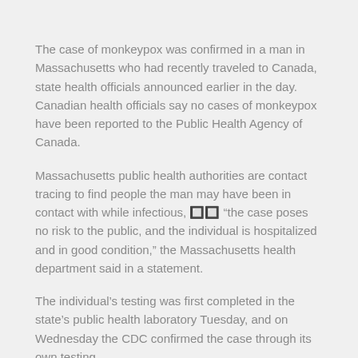The case of monkeypox was confirmed in a man in Massachusetts who had recently traveled to Canada, state health officials announced earlier in the day. Canadian health officials say no cases of monkeypox have been reported to the Public Health Agency of Canada.
Massachusetts public health authorities are contact tracing to find people the man may have been in contact with while infectious, 🔲🔲 “the case poses no risk to the public, and the individual is hospitalized and in good condition,” the Massachusetts health department said in a statement.
The individual’s testing was first completed in the state’s public health laboratory Tuesday, and on Wednesday the CDC confirmed the case through its own testing.